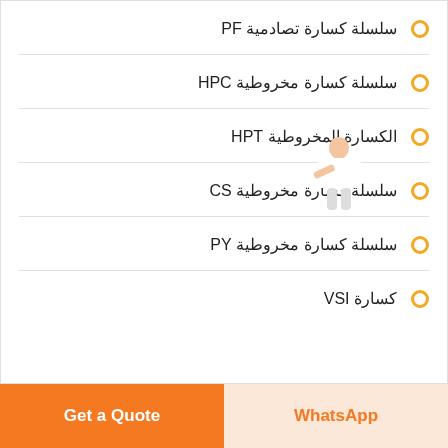سلسلة كسارة تصادمية PF
سلسلة كسارة مخروطية HPC
الكسارة المخروطية HPT
سلسلة كسارة مخروطية CS
سلسلة كسارة مخروطية PY
كسارة VSI
[Figure (illustration): Chat assistant figure with Free chat blue button]
Get a Quote  WhatsApp